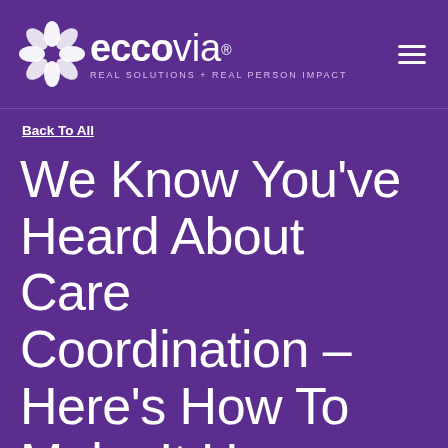[Figure (logo): Eccovia logo with flower/snowflake icon and text 'eccovia REAL SOLUTIONS + REAL PERSON IMPACT' on purple background]
Back To All
We Know You've Heard About Care Coordination – Here's How To Make It Happen